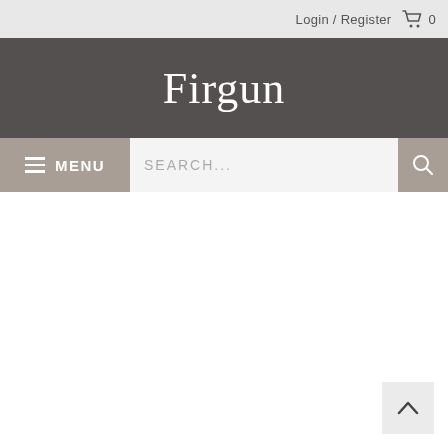Login / Register  🛒 0
Firgun
≡ MENU  SEARCH...  🔍